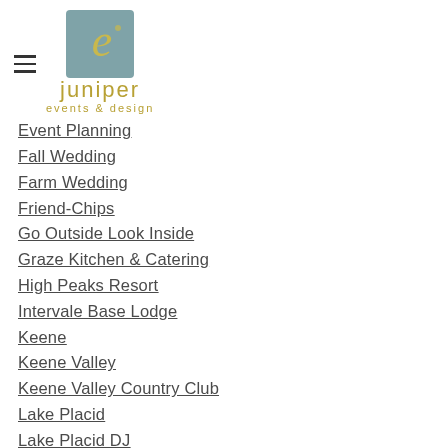[Figure (logo): Juniper Events & Design logo with stylized 'e' in teal square and gold text reading 'juniper events & design']
Event Planning
Fall Wedding
Farm Wedding
Friend-Chips
Go Outside Look Inside
Graze Kitchen & Catering
High Peaks Resort
Intervale Base Lodge
Keene
Keene Valley
Keene Valley Country Club
Lake Placid
Lake Placid DJ
Lake Placid Lodge
Little Farmhouse Flowers
Mad Cap...